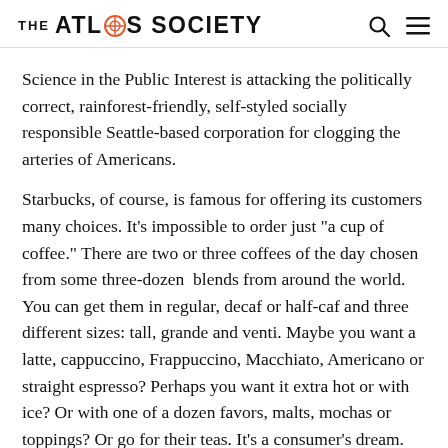THE ATLAS SOCIETY
Science in the Public Interest is attacking the politically correct, rainforest-friendly, self-styled socially responsible Seattle-based corporation for clogging the arteries of Americans.
Starbucks, of course, is famous for offering its customers many choices. It's impossible to order just "a cup of coffee." There are two or three coffees of the day chosen from some three-dozen  blends from around the world. You can get them in regular, decaf or half-caf and three different sizes: tall, grande and venti. Maybe you want a latte, cappuccino, Frappuccino, Macchiato, Americano or straight espresso? Perhaps you want it extra hot or with ice? Or with one of a dozen favors, malts, mochas or toppings? Or go for their teas. It's a consumer's dream.